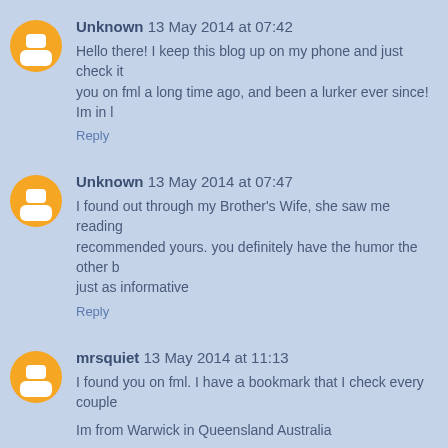Unknown 13 May 2014 at 07:42
Hello there! I keep this blog up on my phone and just check it you on fml a long time ago, and been a lurker ever since! Im in l
Reply
Unknown 13 May 2014 at 07:47
I found out through my Brother's Wife, she saw me reading recommended yours. you definitely have the humor the other b just as informative
Reply
mrsquiet 13 May 2014 at 11:13
I found you on fml. I have a bookmark that I check every couple
Im from Warwick in Queensland Australia
Reply